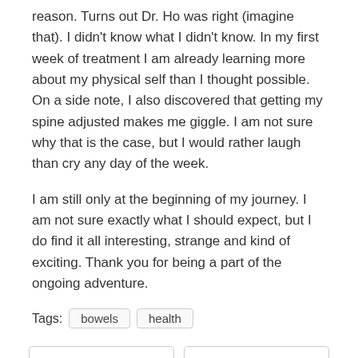reason. Turns out Dr. Ho was right (imagine that). I didn't know what I didn't know. In my first week of treatment I am already learning more about my physical self than I thought possible. On a side note, I also discovered that getting my spine adjusted makes me giggle. I am not sure why that is the case, but I would rather laugh than cry any day of the week.
I am still only at the beginning of my journey. I am not sure exactly what I should expect, but I do find it all interesting, strange and kind of exciting. Thank you for being a part of the ongoing adventure.
Tags: bowels  health
← A Matter of Balance
Fitness|Food: Bless Me Father For I Have Sinned... →